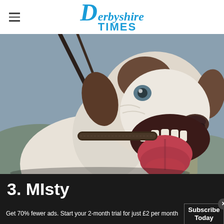Derbyshire Times
[Figure (photo): Close-up photo of a white and brown dog with a collar and leash, mouth open with tongue out, appearing happy]
3. Misty
Get 70% fewer ads. Start your 2-month trial for just £2 per month
Subscribe Today